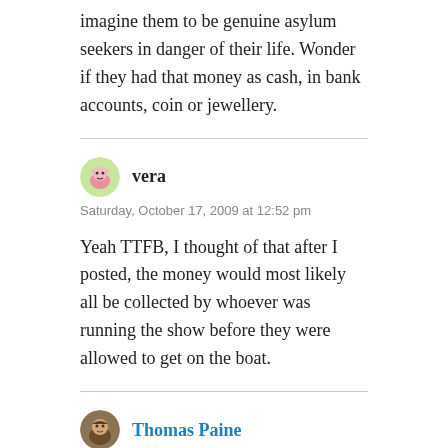imagine them to be genuine asylum seekers in danger of their life. Wonder if they had that money as cash, in bank accounts, coin or jewellery.
vera
Saturday, October 17, 2009 at 12:52 pm
Yeah TTFB, I thought of that after I posted, the money would most likely all be collected by whoever was running the show before they were allowed to get on the boat.
Thomas Paine